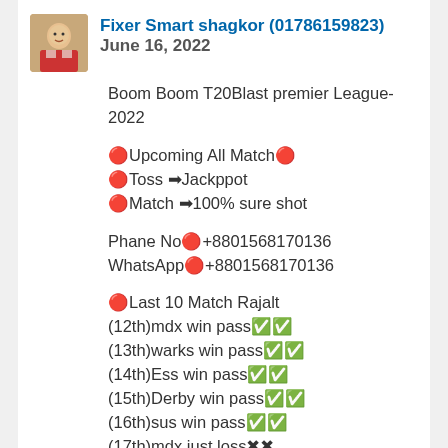Fixer Smart shagkor (01786159823) June 16, 2022
Boom Boom T20Blast premier League-2022
🔴Upcoming All Match🔴
🔴Toss ➡Jackppot
🔴Match ➡100% sure shot
Phane No🔴+8801568170136
WhatsApp🔴+8801568170136
🔴Last 10 Match Rajalt
(12th)mdx win pass✅✅
(13th)warks win pass✅✅
(14th)Ess win pass✅✅
(15th)Derby win pass✅✅
(16th)sus win pass✅✅
(17th)mdx just loss✖✖
(18th)Lancs win pass✅✅
(19th)warks win pass✅✅